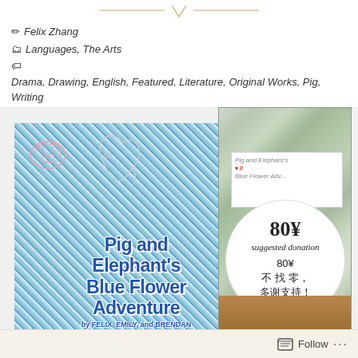✏ Felix Zhang
🗂 Languages, The Arts
🏷 Drama, Drawing, English, Featured, Literature, Original Works, Pig, Writing
[Figure (photo): Photo of a handmade children's book titled 'Pig and Elephant's Blue Flower Adventure by Felix, Emily, and Brendan', shown alongside a foil-wrapped item with a circular price label reading '80¥ suggested donation' and '80¥ 不找零，多谢支持!']
Follow ...